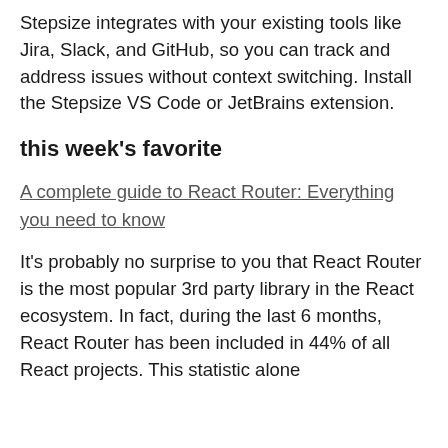Stepsize integrates with your existing tools like Jira, Slack, and GitHub, so you can track and address issues without context switching. Install the Stepsize VS Code or JetBrains extension.
this week's favorite
A complete guide to React Router: Everything you need to know
It's probably no surprise to you that React Router is the most popular 3rd party library in the React ecosystem. In fact, during the last 6 months, React Router has been included in 44% of all React projects. This statistic alone